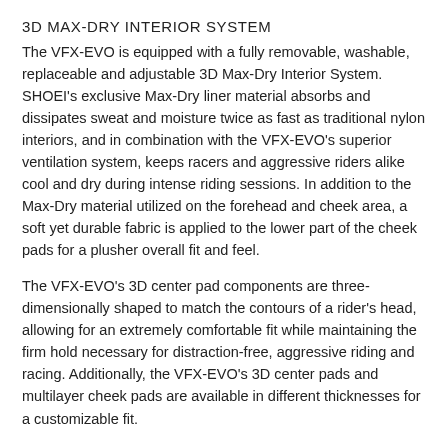3D MAX-DRY INTERIOR SYSTEM
The VFX-EVO is equipped with a fully removable, washable, replaceable and adjustable 3D Max-Dry Interior System. SHOEI's exclusive Max-Dry liner material absorbs and dissipates sweat and moisture twice as fast as traditional nylon interiors, and in combination with the VFX-EVO's superior ventilation system, keeps racers and aggressive riders alike cool and dry during intense riding sessions. In addition to the Max-Dry material utilized on the forehead and cheek area, a soft yet durable fabric is applied to the lower part of the cheek pads for a plusher overall fit and feel.
The VFX-EVO's 3D center pad components are three-dimensionally shaped to match the contours of a rider's head, allowing for an extremely comfortable fit while maintaining the firm hold necessary for distraction-free, aggressive riding and racing. Additionally, the VFX-EVO's 3D center pads and multilayer cheek pads are available in different thicknesses for a customizable fit.